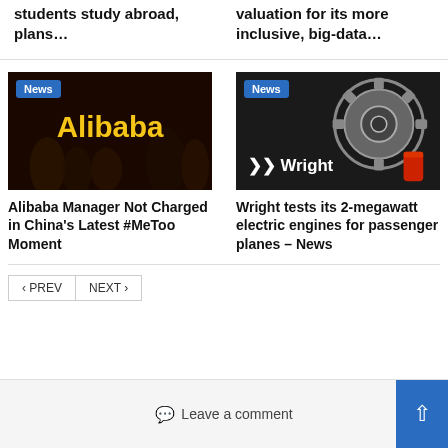students study abroad, plans…
valuation for its more inclusive, big-data…
[Figure (photo): Dark image with Alibaba logo in yellow text, News badge overlay]
Alibaba Manager Not Charged in China's Latest #MeToo Moment
[Figure (photo): Dark image of mechanical engine/gear component with Wright branding, News badge overlay]
Wright tests its 2-megawatt electric engines for passenger planes – News
< PREV
NEXT >
Leave a comment